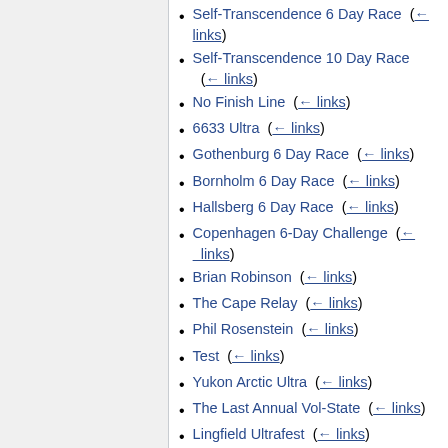Self-Transcendence 6 Day Race  (← links)
Self-Transcendence 10 Day Race  (← links)
No Finish Line  (← links)
6633 Ultra  (← links)
Gothenburg 6 Day Race  (← links)
Bornholm 6 Day Race  (← links)
Hallsberg 6 Day Race  (← links)
Copenhagen 6-Day Challenge  (← links)
Brian Robinson  (← links)
The Cape Relay  (← links)
Phil Rosenstein  (← links)
Test  (← links)
Yukon Arctic Ultra  (← links)
The Last Annual Vol-State  (← links)
Lingfield Ultrafest  (← links)
Pam Storey  (← links)